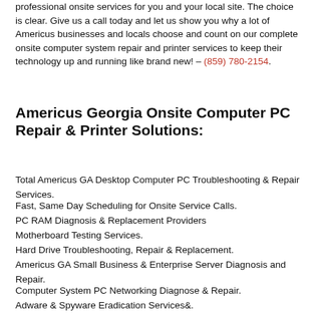professional onsite services for you and your local site. The choice is clear. Give us a call today and let us show you why a lot of Americus businesses and locals choose and count on our complete onsite computer system repair and printer services to keep their technology up and running like brand new! – (859) 780-2154.
Americus Georgia Onsite Computer PC Repair & Printer Solutions:
Total Americus GA Desktop Computer PC Troubleshooting & Repair Services.
Fast, Same Day Scheduling for Onsite Service Calls.
PC RAM Diagnosis & Replacement Providers
Motherboard Testing Services.
Hard Drive Troubleshooting, Repair & Replacement.
Americus GA Small Business & Enterprise Server Diagnosis and Repair.
Computer System PC Networking Diagnose & Repair.
Adware & Spyware Eradication Services&.